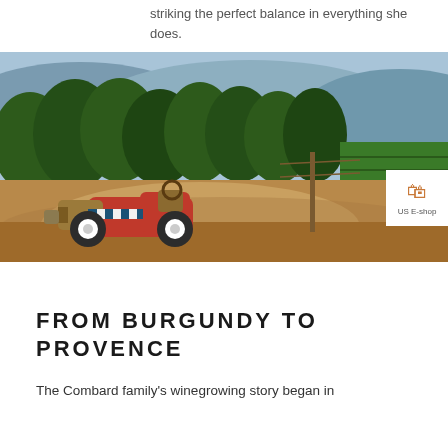striking the perfect balance in everything she does.
[Figure (photo): A red vintage pedal car toy sitting on a dirt path beside rows of vineyard grapevines, with green trees and blue mountains in the background.]
FROM BURGUNDY TO PROVENCE
The Combard family's winegrowing story began in